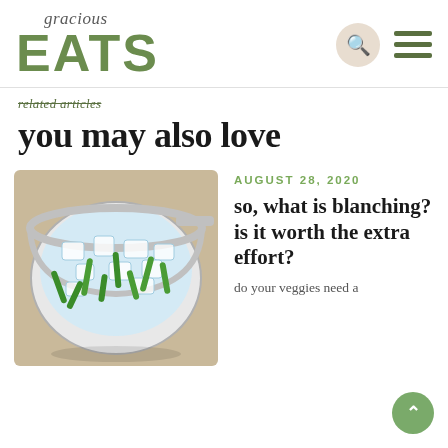gracious EATS
you may also love
AUGUST 28, 2020
[Figure (photo): Green beans in an ice water bath in a glass bowl with a metal strainer, on a burlap surface]
so, what is blanching? is it worth the extra effort?
do your veggies need a